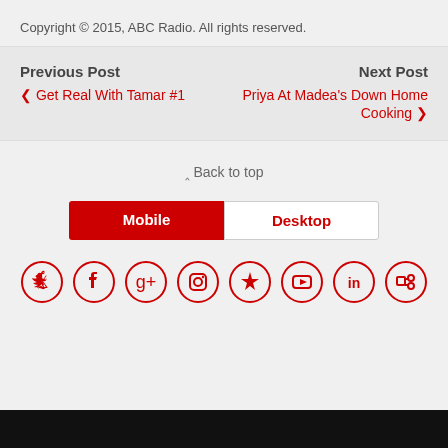Copyright © 2015, ABC Radio. All rights reserved.
Previous Post
‹ Get Real With Tamar #1
Next Post
Priya At Madea's Down Home Cooking ›
⋀ Back to top
Mobile | Desktop
[Figure (other): Social media icons row: Twitter, Facebook, Google+, Instagram, Pinterest, YouTube, LinkedIn, RSS — each in a red circle outline]